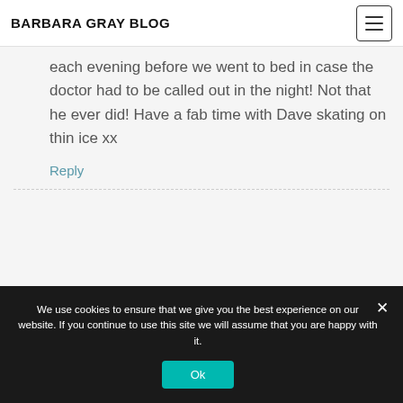BARBARA GRAY BLOG
each evening before we went to bed in case the doctor had to be called out in the night! Not that he ever did! Have a fab time with Dave skating on thin ice xx
Reply
We use cookies to ensure that we give you the best experience on our website. If you continue to use this site we will assume that you are happy with it.